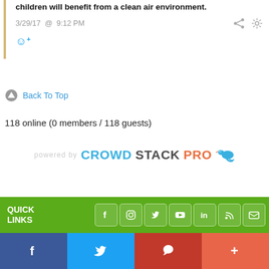children will benefit from a clean air environment.
3/29/17  @  9:12 PM
Back To Top
118 online (0 members / 118 guests)
[Figure (logo): powered by CROWDSTACKPRO logo with bird icon]
QUICK LINKS
[Figure (infographic): Social media icons row: Facebook, Instagram, Twitter, YouTube, LinkedIn, RSS, Email on green bar]
[Figure (infographic): Bottom share bar with Facebook, Twitter, Pinterest, and More (+) buttons]